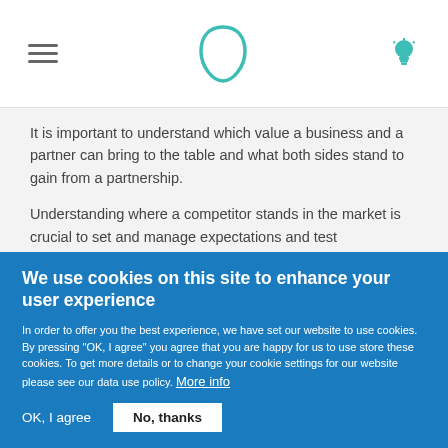[Figure (logo): Navigation header with hamburger menu icon on the left, a teal rounded teardrop/leaf outline logo in the center, and a teal lightbulb icon on the right]
It is important to understand which value a business and a partner can bring to the table and what both sides stand to gain from a partnership.
Understanding where a competitor stands in the market is crucial to set and manage expectations and test partnerships before entering long-term strategic
We use cookies on this site to enhance your user experience
In order to offer you the best experience, we have set our website to use cookies. By pressing "OK, I agree" you agree that you are happy for us to use store these cookies. To get more details or to change your cookie settings for our website please see our data use policy. More info
OK, I agree   No, thanks